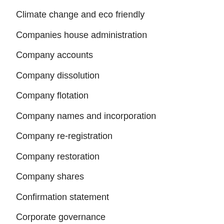Climate change and eco friendly
Companies house administration
Company accounts
Company dissolution
Company flotation
Company names and incorporation
Company re-registration
Company restoration
Company shares
Confirmation statement
Corporate governance